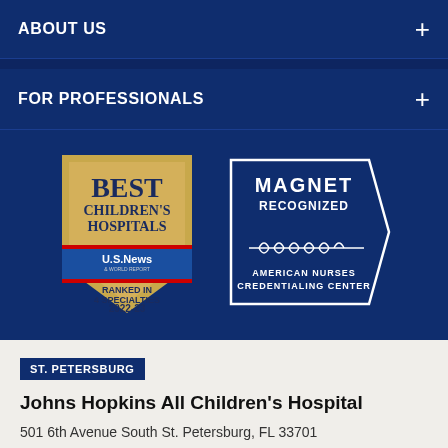ABOUT US
FOR PROFESSIONALS
[Figure (logo): U.S. News Best Children's Hospitals badge — Ranked in 4 Specialties 2022-23]
[Figure (logo): Magnet Recognized — American Nurses Credentialing Center badge]
ST. PETERSBURG
Johns Hopkins All Children's Hospital
501 6th Avenue South St. Petersburg, FL 33701